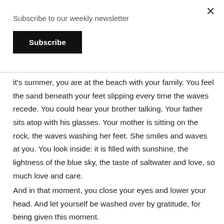×
Subscribe to our weekly newsletter
Subscribe
it's summer, you are at the beach with your family. You feel the sand beneath your feet slipping every time the waves recede. You could hear your brother talking. Your father sits atop with his glasses. Your mother is sitting on the rock, the waves washing her feet. She smiles and waves at you. You look inside: it is filled with sunshine, the lightness of the blue sky, the taste of saltwater and love, so much love and care.
And in that moment, you close your eyes and lower your head. And let yourself be washed over by gratitude, for being given this moment.